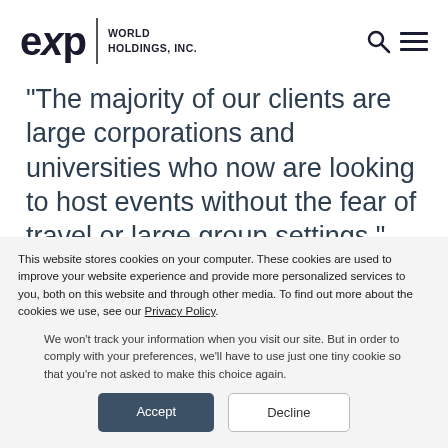eXp WORLD HOLDINGS, INC.
“The majority of our clients are large corporations and universities who now are looking to host events without the fear of travel or large group settings,”
said VirBELA Founder and President Alex
This website stores cookies on your computer. These cookies are used to improve your website experience and provide more personalized services to you, both on this website and through other media. To find out more about the cookies we use, see our Privacy Policy.
We won’t track your information when you visit our site. But in order to comply with your preferences, we’ll have to use just one tiny cookie so that you’re not asked to make this choice again.
Accept
Decline